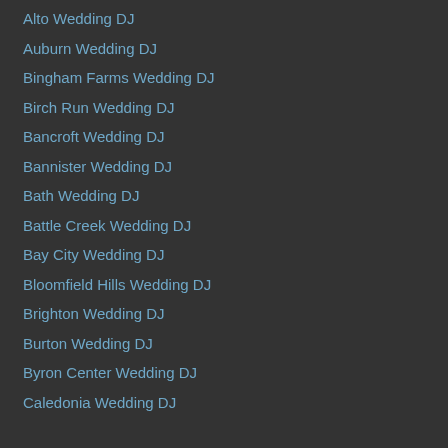Alto Wedding DJ
Auburn Wedding DJ
Bingham Farms Wedding DJ
Birch Run Wedding DJ
Bancroft Wedding DJ
Bannister Wedding DJ
Bath Wedding DJ
Battle Creek Wedding DJ
Bay City Wedding DJ
Bloomfield Hills Wedding DJ
Brighton Wedding DJ
Burton Wedding DJ
Byron Center Wedding DJ
Caledonia Wedding DJ